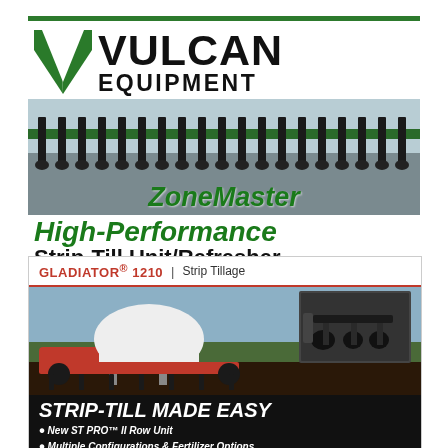[Figure (logo): Vulcan Equipment logo with green V chevron and bold black text VULCAN EQUIPMENT]
[Figure (photo): Row of ZoneMaster strip-till implement units on green toolbar, field in background]
ZoneMaster High-Performance Strip-Till Unit/Refresher
[Figure (photo): Gladiator 1210 Strip Tillage ad: tractor with large white tank and strip-till implement in field, plus inset product photo. Header reads GLADIATOR 1210 | Strip Tillage. Bottom banner: STRIP-TILL MADE EASY with bullet points New ST PRO II Row Unit and Multiple Configurations & Fertilizer Options]